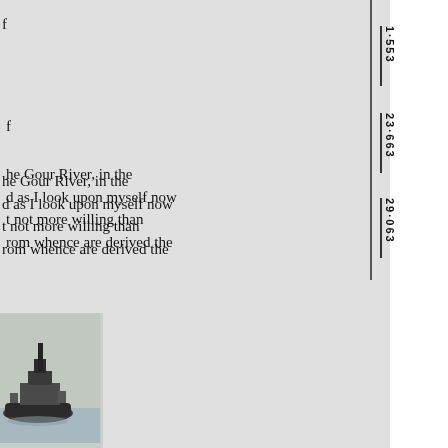f
he Gour River, in the
d as I look upon myself now
t not more willing than
rom whence are derived the
ritories, in April last, that
ent directions; this led to the
was accidentally mislaid. We
of Captain Reynolds' excellent
me subject.-Eds. J. A. S
[Figure (illustration): Partial illustration of a ship or maritime figure at bottom left of page]